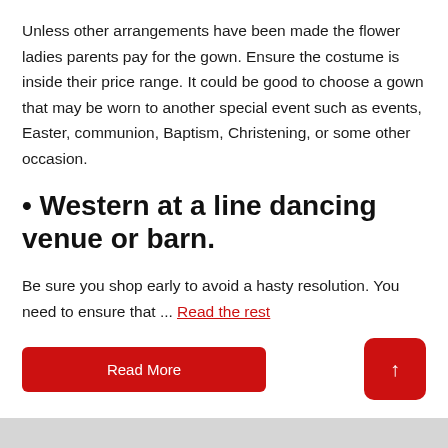Unless other arrangements have been made the flower ladies parents pay for the gown. Ensure the costume is inside their price range. It could be good to choose a gown that may be worn to another special event such as events, Easter, communion, Baptism, Christening, or some other occasion.
• Western at a line dancing venue or barn.
Be sure you shop early to avoid a hasty resolution. You need to ensure that ... Read the rest